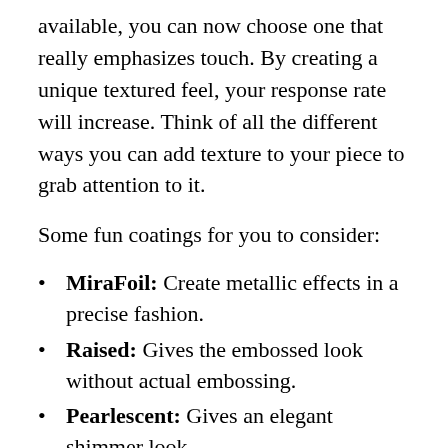available, you can now choose one that really emphasizes touch. By creating a unique textured feel, your response rate will increase. Think of all the different ways you can add texture to your piece to grab attention to it.
Some fun coatings for you to consider:
MiraFoil: Create metallic effects in a precise fashion.
Raised: Gives the embossed look without actual embossing.
Pearlescent: Gives an elegant shimmer look.
Sandpaper: Gives a rough sand paper like feel.
Soft touch: Creates a velvet texture for a nice